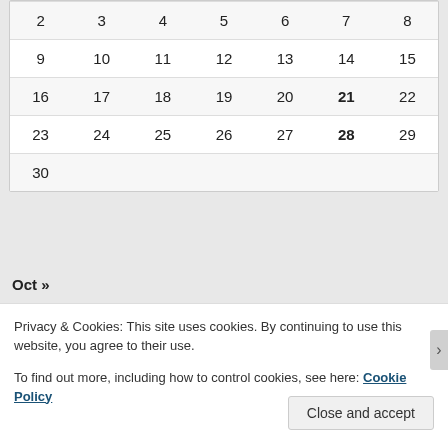| 2 | 3 | 4 | 5 | 6 | 7 | 8 |
| 9 | 10 | 11 | 12 | 13 | 14 | 15 |
| 16 | 17 | 18 | 19 | 20 | 21 | 22 |
| 23 | 24 | 25 | 26 | 27 | 28 | 29 |
| 30 |  |  |  |  |  |  |
Oct »
Privacy & Cookies: This site uses cookies. By continuing to use this website, you agree to their use.
To find out more, including how to control cookies, see here: Cookie Policy
Close and accept